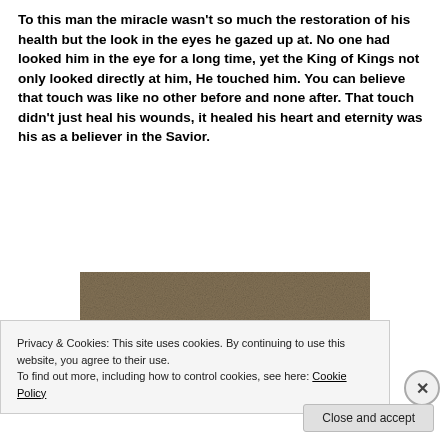To this man the miracle wasn't so much the restoration of his health but the look in the eyes he gazed up at. No one had looked him in the eye for a long time, yet the King of Kings not only looked directly at him, He touched him. You can believe that touch was like no other before and none after. That touch didn't just heal his wounds, it healed his heart and eternity was his as a believer in the Savior.
[Figure (illustration): Stone texture background image with bold white italic text reading 'I am willing...']
Privacy & Cookies: This site uses cookies. By continuing to use this website, you agree to their use.
To find out more, including how to control cookies, see here: Cookie Policy
Close and accept